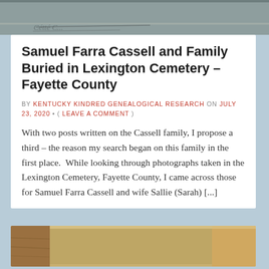[Figure (photo): Grayscale image at top showing a handwritten or printed document header]
Samuel Farra Cassell and Family Buried in Lexington Cemetery – Fayette County
BY KENTUCKY KINDRED GENEALOGICAL RESEARCH ON JULY 23, 2020 • ( LEAVE A COMMENT )
With two posts written on the Cassell family, I propose a third – the reason my search began on this family in the first place.  While looking through photographs taken in the Lexington Cemetery, Fayette County, I came across those for Samuel Farra Cassell and wife Sallie (Sarah) [...]
[Figure (photo): Photograph of a weathered stone or book at the bottom of the page]